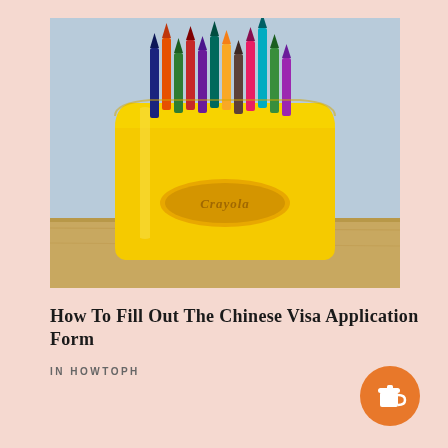[Figure (photo): A yellow Crayola crayon holder/organizer shaped like a rounded box sitting on a wooden surface, filled with colorful crayons sticking out the top. Gray background.]
How To Fill Out The Chinese Visa Application Form
IN HOWTOPH
[Figure (illustration): Orange circular button with a coffee cup icon (Buy Me a Coffee style widget)]